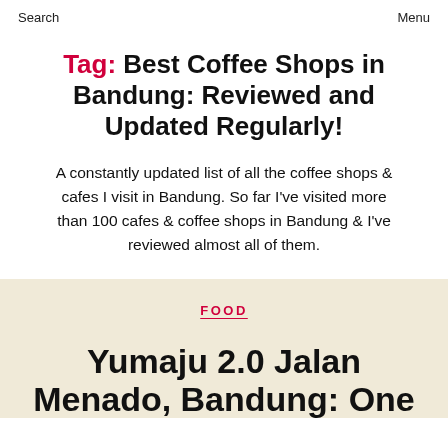Search   Menu
Tag: Best Coffee Shops in Bandung: Reviewed and Updated Regularly!
A constantly updated list of all the coffee shops & cafes I visit in Bandung. So far I've visited more than 100 cafes & coffee shops in Bandung & I've reviewed almost all of them.
FOOD
Yumaju 2.0 Jalan Menado, Bandung: One